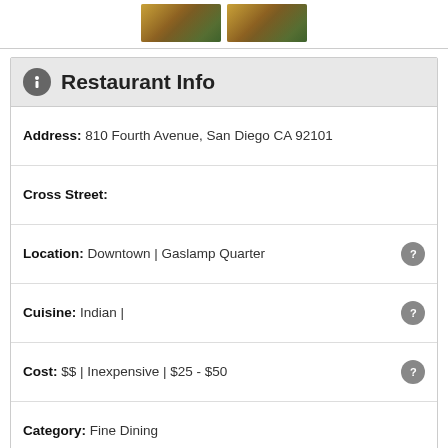[Figure (photo): Two food photos side by side at the top of the page]
Restaurant Info
Address: 810 Fourth Avenue, San Diego CA 92101
Cross Street:
Location: Downtown | Gaslamp Quarter
Cuisine: Indian |
Cost: $$ | Inexpensive | $25 - $50
Category: Fine Dining
Star Rating: 2 out of 5 stars
Reservations: Available
Dress Code: Smart casual (partial, cut off)